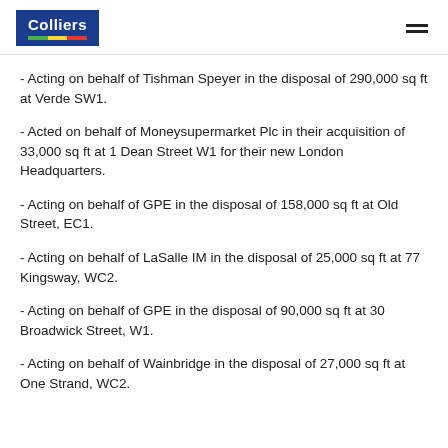Colliers
- Acting on behalf of Tishman Speyer in the disposal of 290,000 sq ft at Verde SW1.
- Acted on behalf of Moneysupermarket Plc in their acquisition of 33,000 sq ft at 1 Dean Street W1 for their new London Headquarters.
- Acting on behalf of GPE in the disposal of 158,000 sq ft at Old Street, EC1.
- Acting on behalf of LaSalle IM in the disposal of 25,000 sq ft at 77 Kingsway, WC2.
- Acting on behalf of GPE in the disposal of 90,000 sq ft at 30 Broadwick Street, W1.
- Acting on behalf of Wainbridge in the disposal of 27,000 sq ft at One Strand, WC2.